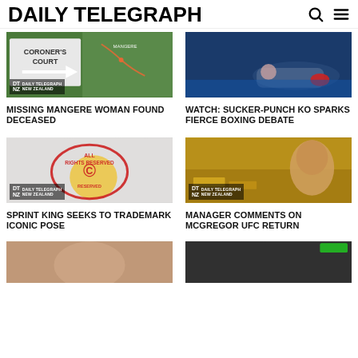DAILY TELEGRAPH
[Figure (photo): Coroner's Court sign and map of Mangere area]
[Figure (photo): Boxer knocked out on the canvas]
MISSING MANGERE WOMAN FOUND DECEASED
WATCH: SUCKER-PUNCH KO SPARKS FIERCE BOXING DEBATE
[Figure (photo): Usain Bolt in iconic pose with copyright/all rights reserved stamp overlay]
[Figure (photo): Conor McGregor against gold background]
SPRINT KING SEEKS TO TRADEMARK ICONIC POSE
MANAGER COMMENTS ON MCGREGOR UFC RETURN
[Figure (photo): Partially visible image at bottom left]
[Figure (photo): Partially visible image at bottom right]